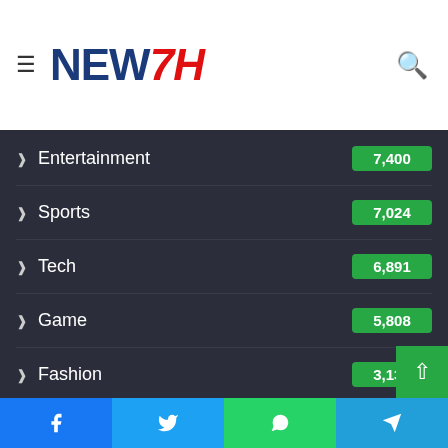NEW7H
Entertainment 7,400
Sports 7,024
Tech 6,891
Game 5,808
Fashion 3,133
Auto Express 3,071
Health 3,010
Tags
breaking news
business
business news
Canada
Facebook | Twitter | WhatsApp | Telegram